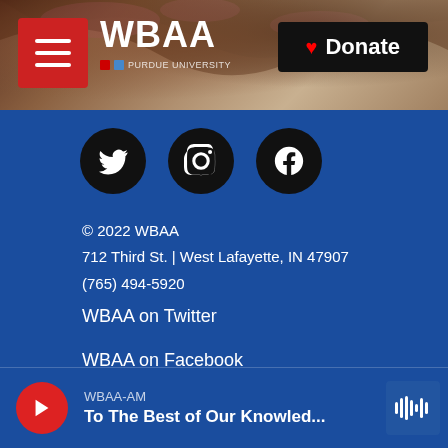[Figure (screenshot): WBAA radio website header with tree/nature background photo, red hamburger menu button, WBAA NPR logo, and black Donate button with heart icon]
[Figure (infographic): Social media icons: Twitter (bird), Instagram (camera), Facebook (f) in black circles on blue background]
© 2022 WBAA
712 Third St. | West Lafayette, IN 47907
(765) 494-5920
WBAA on Twitter
WBAA on Facebook
Contact Us
E-Mail News Tips/Ideas
WBAA-AM
To The Best of Our Knowled...